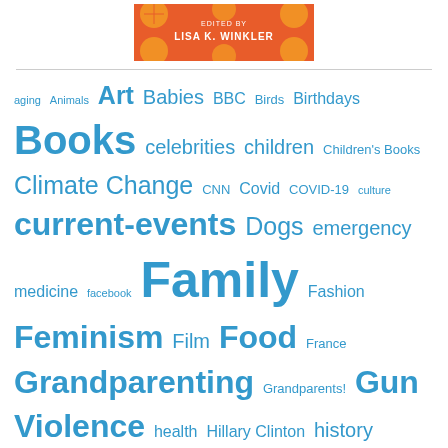[Figure (photo): Book cover with orange slices background, text reading 'EDITED BY LISA K. WINKLER']
aging Animals Art Babies BBC Birds Birthdays Books celebrities children Children's Books Climate Change CNN Covid COVID-19 culture current-events Dogs emergency medicine facebook Family Fashion Feminism Film Food France Grandparenting Grandparents! Gun Violence health Hillary Clinton history Holidays Home Immigration Jewish Jewish family law love Marriage medicine Memoir Movies Music Nashville nature Netflix NPR NYTimes Parenting Parlor Mob Parnassus Bookstore PBS Philosophy